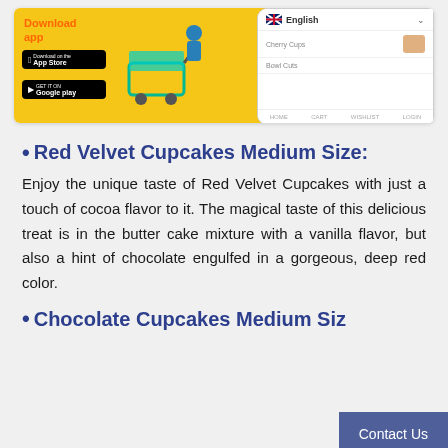[Figure (screenshot): App promotional banner with yellow background showing a shopping cart illustration, Download app text with App Store and Google Play badges, and a phone mockup with English language selector]
Red Velvet Cupcakes Medium Size:
Enjoy the unique taste of Red Velvet Cupcakes with just a touch of cocoa flavor to it. The magical taste of this delicious treat is in the butter cake mixture with a vanilla flavor, but also a hint of chocolate engulfed in a gorgeous, deep red color.
Chocolate Cupcakes Medium Siz